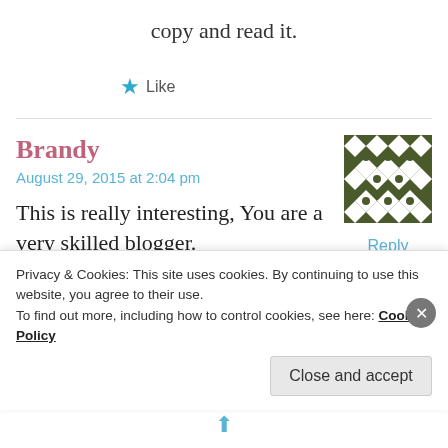copy and read it.
★ Like
Brandy
August 29, 2015 at 2:04 pm
[Figure (illustration): Decorative geometric avatar pattern in dark olive green and white, diamond/cross quilt pattern]
Reply
This is really interesting, You are a very skilled blogger. I've joined your feed and look forward to seeking more of
Privacy & Cookies: This site uses cookies. By continuing to use this website, you agree to their use. To find out more, including how to control cookies, see here: Cookie Policy
Close and accept